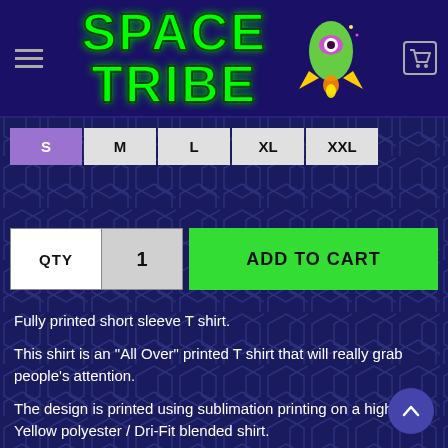[Figure (logo): Space Tribe logo with green neon text 'SPACE TRIBE' and a rocket/alien ship graphic on dark purple background]
S  M  L  XL  XXL (size selector buttons, S selected/highlighted)
QTY  1  ADD TO CART
Fully printed short sleeve T shirt.
This shirt is an "All Over" printed T shirt that will really grab people's attention.
The design is printed using sublimation printing on a high UV Yellow polyester / Dri-Fit blended shirt.